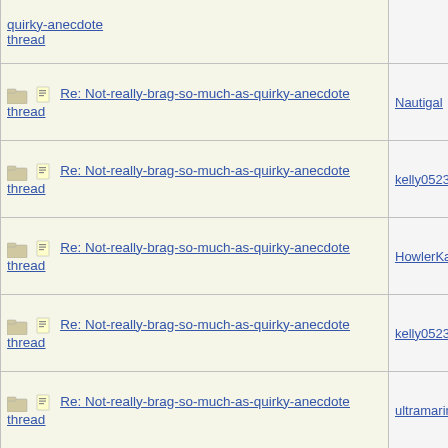| Thread | Author |
| --- | --- |
| quirky-anecdote thread |  |
| Re: Not-really-brag-so-much-as-quirky-anecdote thread | Nautigal |
| Re: Not-really-brag-so-much-as-quirky-anecdote thread | kelly0523 |
| Re: Not-really-brag-so-much-as-quirky-anecdote thread | HowlerKa |
| Re: Not-really-brag-so-much-as-quirky-anecdote thread | kelly0523 |
| Re: Not-really-brag-so-much-as-quirky-anecdote thread | ultramarir |
| Re: Not-really-brag-so-much-as-quirky-anecdote thread | AvoCado |